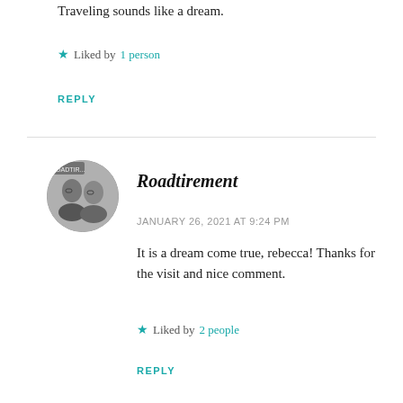Traveling sounds like a dream.
Liked by 1 person
REPLY
[Figure (photo): Circular avatar photo of two people (a couple), older adults with glasses]
Roadtirement
JANUARY 26, 2021 AT 9:24 PM
It is a dream come true, rebecca! Thanks for the visit and nice comment.
Liked by 2 people
REPLY